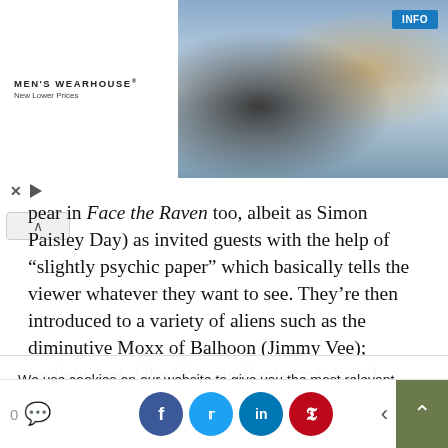[Figure (screenshot): Men's Wearhouse advertisement banner showing a couple in formal wear and a man in a suit, with an INFO button]
pear in Face the Raven too, albeit as Simon Paisley Day) as invited guests with the help of “slightly psychic paper” which basically tells the viewer whatever they want to see. They’re then introduced to a variety of aliens such as the diminutive Moxx of Balhoon (Jimmy Vee); sentient tree, Jabe (Yasmin Bannerman); and Cassandra,
We use cookies on our website to give you the most relevant experience by remembering your preferences and repeat visits. By clicking “Accept”, you consent to the use of ALL the cookies.
Do not sell my personal information.
[Figure (screenshot): Bottom navigation bar with comment count, social share buttons (Facebook, Twitter, LinkedIn, Pinterest), back arrow, and scroll-to-top button]